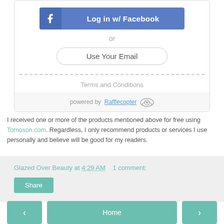[Figure (screenshot): Login widget with Facebook login button, 'or' text, Use Your Email button, dashed separator, Terms and Conditions link, and powered by Rafflecopter footer]
I received one or more of the products mentioned above for free using Tomoson.com. Regardless, I only recommend products or services I use personally and believe will be good for my readers.
Glazed Over Beauty at 4:29 AM   1 comment:
Share
Home